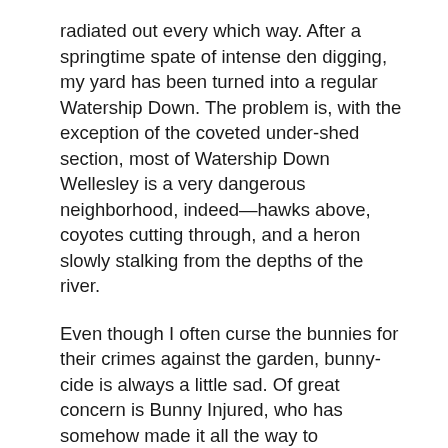radiated out every which way. After a springtime spate of intense den digging, my yard has been turned into a regular Watership Down. The problem is, with the exception of the coveted under-shed section, most of Watership Down Wellesley is a very dangerous neighborhood, indeed—hawks above, coyotes cutting through, and a heron slowly stalking from the depths of the river.
Even though I often curse the bunnies for their crimes against the garden, bunny-cide is always a little sad. Of great concern is Bunny Injured, who has somehow made it all the way to adolescence even though his left leg is almost useless. When startled, which is almost always, Bunny Injured forgets all about his left leg and tries to bolt. When he realizes he's just moving in a tight circle and his enemy is still right there, Bunny Injured sits back, wild-eyed, and trembles and trembles. He's grown too big to be of interest to the heron, but the threat of hawks and the coyotes will always loom. Bunny Injured will probably meet his